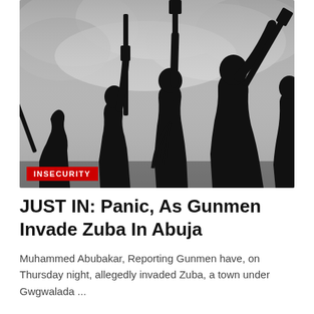[Figure (photo): Silhouettes of armed gunmen holding rifles raised against a dramatic cloudy sky background, black and white high-contrast image]
INSECURITY
JUST IN: Panic, As Gunmen Invade Zuba In Abuja
Muhammed Abubakar, Reporting Gunmen have, on Thursday night, allegedly invaded Zuba, a town under Gwgwalada ...